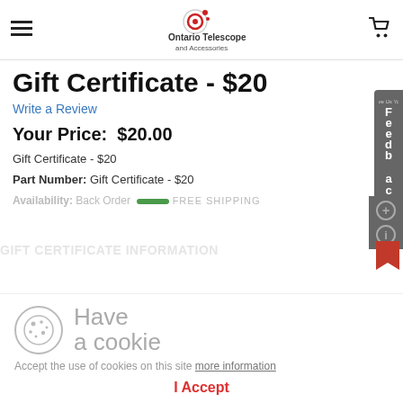Ontario Telescope and Accessories
Gift Certificate - $20
Write a Review
Your Price:  $20.00
Gift Certificate - $20
Part Number: Gift Certificate - $20
Availability: Back Order  FREE SHIPPING
GIFT CERTIFICATE INFORMATION
Have
a cookie
Accept the use of cookies on this site more information
I Accept